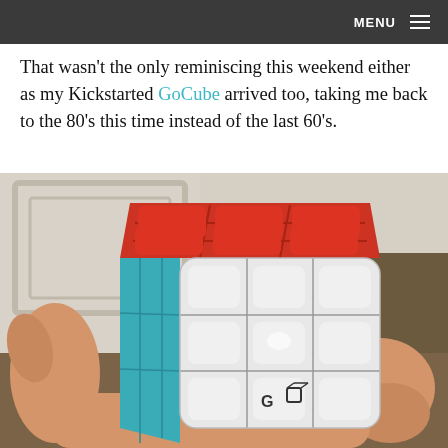MENU ☰
That wasn't the only reminiscing this weekend either as my Kickstarted GoCube arrived too, taking me back to the 80's this time instead of the last 60's.
[Figure (photo): A hand holding a GoCube (a smart Rubik's cube) with red tiles on top, teal/blue tiles on the left face, and white tiles on the right face. The cube has a 'GO' logo on the lower right front tile. Background shows a white door and hardwood floor.]